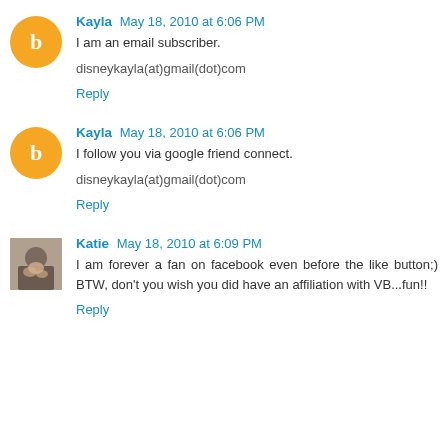Kayla May 18, 2010 at 6:06 PM
I am an email subscriber.
disneykayla(at)gmail(dot)com
Reply
Kayla May 18, 2010 at 6:06 PM
I follow you via google friend connect.
disneykayla(at)gmail(dot)com
Reply
Katie May 18, 2010 at 6:09 PM
I am forever a fan on facebook even before the like button;) BTW, don't you wish you did have an affiliation with VB...fun!!
Reply